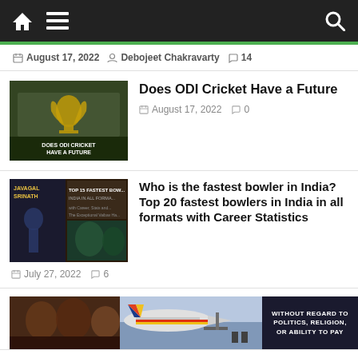Navigation bar with home, menu, and search icons
August 17, 2022  Debojeet Chakravarty  14
Does ODI Cricket Have a Future
August 17, 2022  0
[Figure (photo): Thumbnail showing cricket World Cup trophy with text 'DOES ODI CRICKET HAVE A FUTURE']
Who is the fastest bowler in India? Top 20 fastest bowlers in India in all formats with Career Statistics
July 27, 2022  6
[Figure (photo): Thumbnail showing Javagal Srinath and other cricketers with text about top 15 fastest bowlers in India]
Top & Most Dangerous Batsman
[Figure (photo): Thumbnail showing cricket crowd/batsman]
[Figure (photo): Advertisement banner showing airplane loading cargo with text 'WITHOUT REGARD TO POLITICS, RELIGION, OR ABILITY TO PAY']